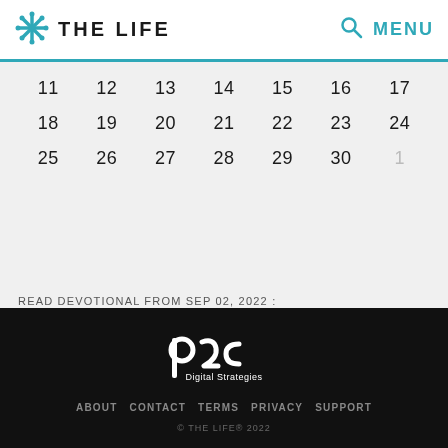THE LIFE   MENU
| 11 | 12 | 13 | 14 | 15 | 16 | 17 |
| 18 | 19 | 20 | 21 | 22 | 23 | 24 |
| 25 | 26 | 27 | 28 | 29 | 30 | 1 |
READ DEVOTIONAL FROM SEP 02, 2022 :
NOT JUST WORDS
Crowds do not&nbsp;need forgiveness. Families cannot live without it.
[Figure (logo): p2c Digital Strategies logo in white on dark background]
ABOUT  CONTACT  TERMS  PRIVACY  SUPPORT
© THE LIFE® 2022